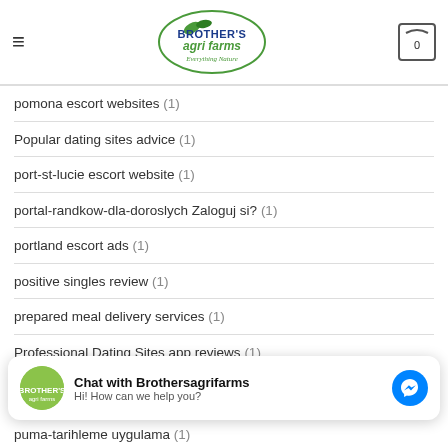Brother's Agri Farms - Everything Nature
pomona escort websites (1)
Popular dating sites advice (1)
port-st-lucie escort website (1)
portal-randkow-dla-doroslych Zaloguj si? (1)
portland escort ads (1)
positive singles review (1)
prepared meal delivery services (1)
Professional Dating Sites app reviews (1)
puma-tarihleme uygulama (1)